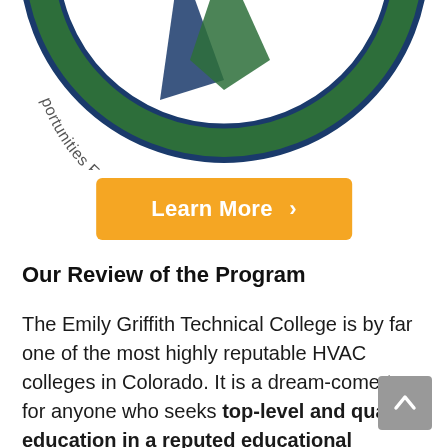[Figure (logo): Partial view of Emily Griffith Technical College circular seal/logo showing 'Est. 1916' and text 'portunities For All Who Wish To Le' along the bottom arc, with blue and green design elements]
Learn More >
Our Review of the Program
The Emily Griffith Technical College is by far one of the most highly reputable HVAC colleges in Colorado. It is a dream-come-true for anyone who seeks top-level and quality education in a reputed educational institute.
Offering more than 25 career and